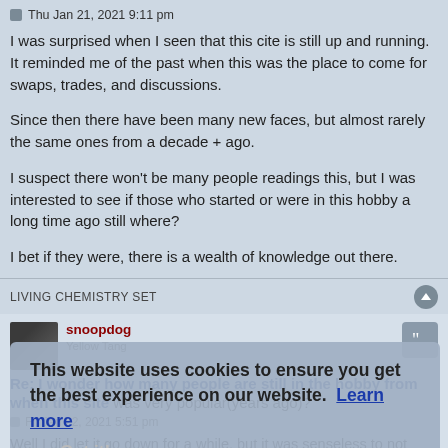Thu Jan 21, 2021 9:11 pm
I was surprised when I seen that this cite is still up and running. It reminded me of the past when this was the place to come for swaps, trades, and discussions.
Since then there have been many new faces, but almost rarely the same ones from a decade + ago.
I suspect there won't be many people readings this, but I was interested to see if those who started or were in this hobby a long time ago still where?
I bet if they were, there is a wealth of knowledge out there.
LIVING CHEMISTRY SET
snoopdog
Yellow Tang
Re: I wonder how many people are still in the hobby from when this site was very popular(years ago)?
Fri Jan 22, 2021 5:51 pm
Well I did let it go down for a while, but it was senseless to not bringing it back up. It does not cost that much to keep it running.
[Figure (infographic): Cookie consent banner overlay reading: This website uses cookies to ensure you get the best experience on our website. Learn more. Got it!]